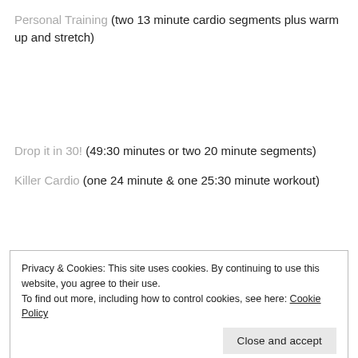Personal Training (two 13 minute cardio segments plus warm up and stretch)
Drop it in 30! (49:30 minutes or two 20 minute segments)
Killer Cardio (one 24 minute & one 25:30 minute workout)
Privacy & Cookies: This site uses cookies. By continuing to use this website, you agree to their use.
To find out more, including how to control cookies, see here: Cookie Policy
Rapid Fire 3: Rock Steady Rock Hard (65 minutes